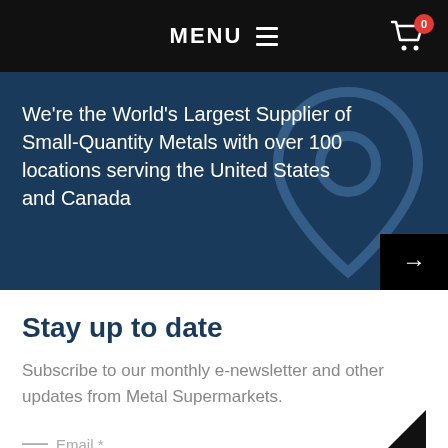MENU  ≡  [cart icon] 0
We're the World's Largest Supplier of Small-Quantity Metals with over 100 locations serving the United States and Canada
Stay up to date
Subscribe to our monthly e-newsletter and other updates from Metal Supermarkets.
Email *